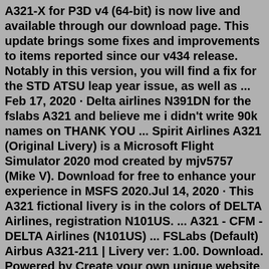A321-X for P3D v4 (64-bit) is now live and available through our download page. This update brings some fixes and improvements to items reported since our v434 release. Notably in this version, you will find a fix for the STD ATSU leap year issue, as well as ... Feb 17, 2020 · Delta airlines N391DN for the fslabs A321 and believe me i didn't write 90k names on THANK YOU ... Spirit Airlines A321 (Original Livery) is a Microsoft Flight Simulator 2020 mod created by mjv5757 (Mike V). Download for free to enhance your experience in MSFS 2020.Jul 14, 2020 · This A321 fictional livery is in the colors of DELTA Airlines, registration N101US. ... A321 - CFM - DELTA Airlines (N101US) ... FSLabs (Default) Airbus A321-211 | Livery ver: 1.00. Download. Powered by Create your own unique website with customizable templates. Get Started. Liveries Addons About us ... Feb 17, 2020 · Delta Fslabs A321 N391DN (Thank you livery) 1.0.0 (2 reviews) By Mohamed Mejairan Find their other files Followers 0 About This File Delta airlines N391DN for the fslabs A321 and believe me i